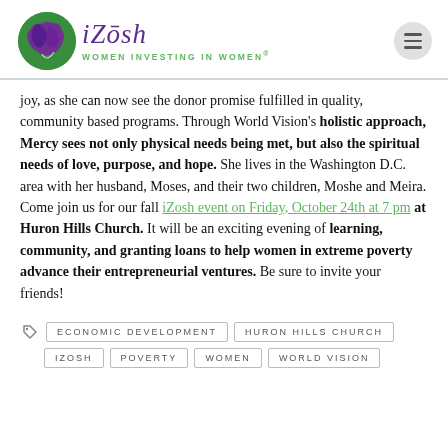iZosh — WOMEN INVESTING IN WOMEN®
joy, as she can now see the donor promise fulfilled in quality, community based programs. Through World Vision's holistic approach, Mercy sees not only physical needs being met, but also the spiritual needs of love, purpose, and hope. She lives in the Washington D.C. area with her husband, Moses, and their two children, Moshe and Meira. Come join us for our fall iZosh event on Friday, October 24th at 7 pm at Huron Hills Church. It will be an exciting evening of learning, community, and granting loans to help women in extreme poverty advance their entrepreneurial ventures. Be sure to invite your friends!
ECONOMIC DEVELOPMENT
HURON HILLS CHURCH
IZOSH
POVERTY
WOMEN
WORLD VISION